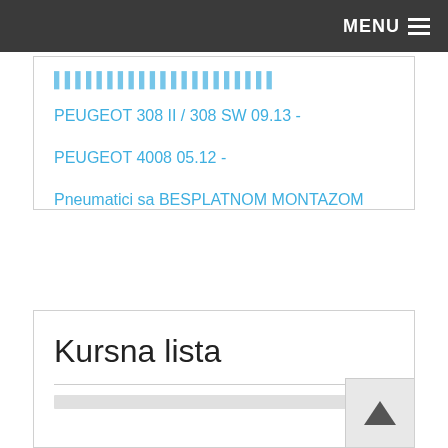MENU
[truncated link]
PEUGEOT 308 II / 308 SW 09.13 -
PEUGEOT 4008 05.12 -
Pneumatici sa BESPLATNOM MONTAZOM
Silent Blokovi
ULJA ZA MOTOR SA BESPLATNOM ZAMENOM
Zaštitne gume amortizera
Kursna lista